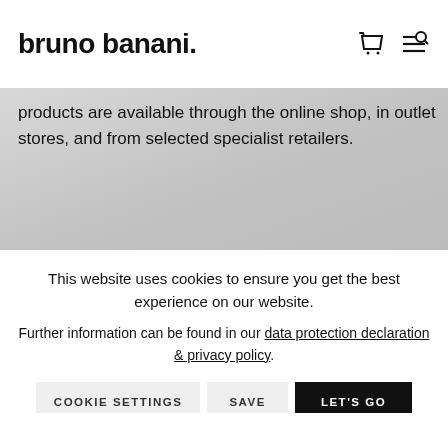bruno banani.
products are available through the online shop, in outlet stores, and from selected specialist retailers.
* All prices incl. value added tax plus shipping costs. The crossed-out prices are showing the RRP.
NEWSLETTER
Register here and receive trends, offers and vouchers by e-mail!
This website uses cookies to ensure you get the best experience on our website. Further information can be found in our data protection declaration & privacy policy.
COOKIE SETTINGS   SAVE   LET'S GO